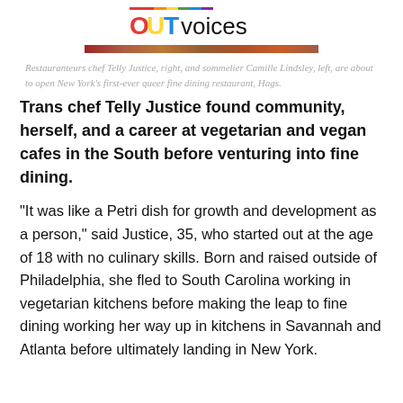OUTvoices
[Figure (photo): Decorative rainbow-colored image strip]
Restauranteurs chef Telly Justice, right, and sommelier Camille Lindsley, left, are about to open New York's first-ever queer fine dining restaurant, Hags.
Trans chef Telly Justice found community, herself, and a career at vegetarian and vegan cafes in the South before venturing into fine dining.
"It was like a Petri dish for growth and development as a person," said Justice, 35, who started out at the age of 18 with no culinary skills. Born and raised outside of Philadelphia, she fled to South Carolina working in vegetarian kitchens before making the leap to fine dining working her way up in kitchens in Savannah and Atlanta before ultimately landing in New York.